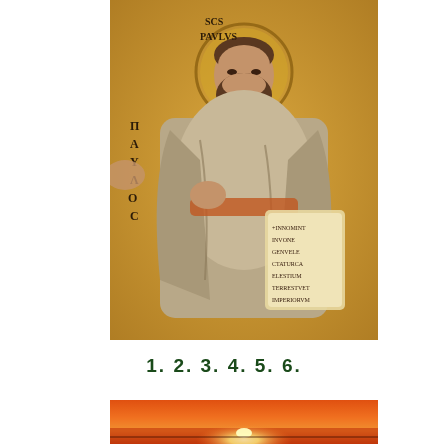[Figure (illustration): Byzantine mosaic depicting Saint Paul (Scs Paulus) with halo, holding a scroll with Latin inscription, standing against a gold background. Greek letters visible on the left side.]
1. 2. 3. 4. 5. 6.
[Figure (photo): Horizontal banner image of a sunset with bright orange and red colors and a small bright sun/light near the horizon center.]